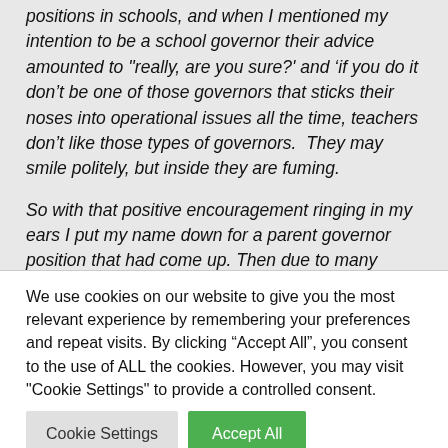positions in schools, and when I mentioned my intention to be a school governor their advice amounted to ''really, are you sure?' and 'if you do it don't be one of those governors that sticks their noses into operational issues all the time, teachers don't like those types of governors.  They may smile politely, but inside they are fuming.
So with that positive encouragement ringing in my ears I put my name down for a parent governor position that had come up. Then due to many reasons including my skills, competences, suitability for the
We use cookies on our website to give you the most relevant experience by remembering your preferences and repeat visits. By clicking "Accept All", you consent to the use of ALL the cookies. However, you may visit "Cookie Settings" to provide a controlled consent.